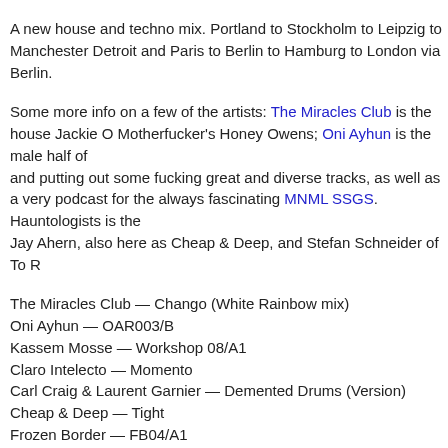A new house and techno mix. Portland to Stockholm to Leipzig to Manchester Detroit and Paris to Berlin to Hamburg to London via Berlin.
Some more info on a few of the artists: The Miracles Club is the house project of Jackie O Motherfucker's Honey Owens; Oni Ayhun is the male half of and putting out some fucking great and diverse tracks, as well as a very good podcast for the always fascinating MNML SSGS. Hauntologists is the Jay Ahern, also here as Cheap & Deep, and Stefan Schneider of To R
The Miracles Club — Chango (White Rainbow mix)
Oni Ayhun — OAR003/B
Kassem Mosse — Workshop 08/A1
Claro Intelecto — Momento
Carl Craig & Laurent Garnier — Demented Drums (Version)
Cheap & Deep — Tight
Frozen Border — FB04/A1
Cassy — Soul Saviour
Hauntologists — EP1/A1
Sascha Funke — Mango Cookie (DJ Koze remix)
Mount Kimbie — William (Tama Sumo & Prosumer remix)
Download
Posted by Harry    2 Comments